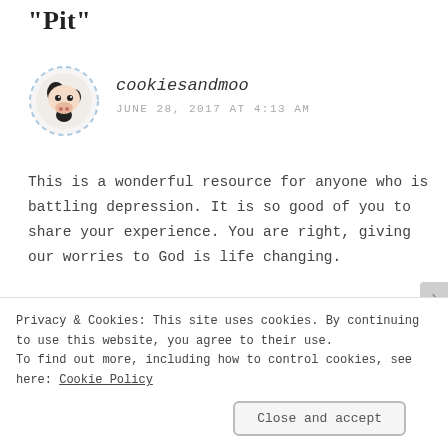“Pit”
[Figure (photo): Avatar image of a plush cow toy with black and white pattern, displayed in a dashed circular border]
cookiesandmoo
JUNE 28, 2017 AT 4:13 AM
This is a wonderful resource for anyone who is battling depression. It is so good of you to share your experience. You are right, giving our worries to God is life changing.
Privacy & Cookies: This site uses cookies. By continuing to use this website, you agree to their use.
To find out more, including how to control cookies, see here: Cookie Policy
Close and accept